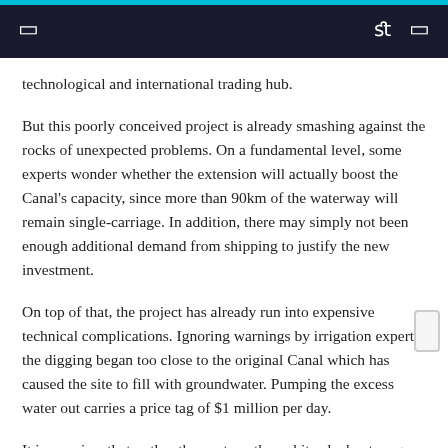☰  fl  ☐
technological and international trading hub.
But this poorly conceived project is already smashing against the rocks of unexpected problems. On a fundamental level, some experts wonder whether the extension will actually boost the Canal's capacity, since more than 90km of the waterway will remain single-carriage. In addition, there may simply not been enough additional demand from shipping to justify the new investment.
On top of that, the project has already run into expensive technical complications. Ignoring warnings by irrigation experts, the digging began too close to the original Canal which has caused the site to fill with groundwater. Pumping the excess water out carries a price tag of $1 million per day.
It is my view that, rather than yet another white elephant mega-